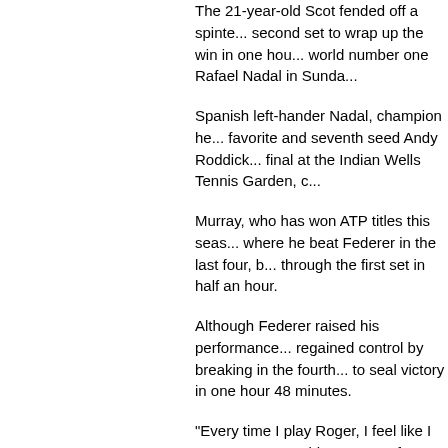The 21-year-old Scot fended off a spinte... second set to wrap up the win in one hou... world number one Rafael Nadal in Sunda...
Spanish left-hander Nadal, champion he... favorite and seventh seed Andy Roddick... final at the Indian Wells Tennis Garden, c...
Murray, who has won ATP titles this seas... where he beat Federer in the last four, b... through the first set in half an hour.
Although Federer raised his performance... regained control by breaking in the fourth... to seal victory in one hour 48 minutes.
"Every time I play Roger, I feel like I got a... Murray told reporters after beating Feder... encounters. "That's one of my best wins...
"I'm playing the match how I want it to go... groundstrokes with someone like Federe...
"I haven't done it against him, and I don't... added Murray, who became the first Brit... Tim Henman in 2004.